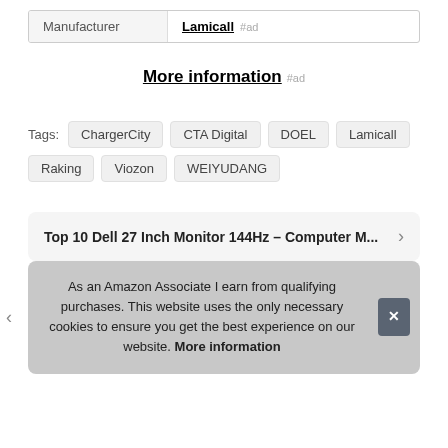| Manufacturer | Lamicall #ad |
| --- | --- |
| Manufacturer | Lamicall #ad |
More information #ad
Tags: ChargerCity CTA Digital DOEL Lamicall Raking Viozon WEIYUDANG
Top 10 Dell 27 Inch Monitor 144Hz – Computer M...
As an Amazon Associate I earn from qualifying purchases. This website uses the only necessary cookies to ensure you get the best experience on our website. More information